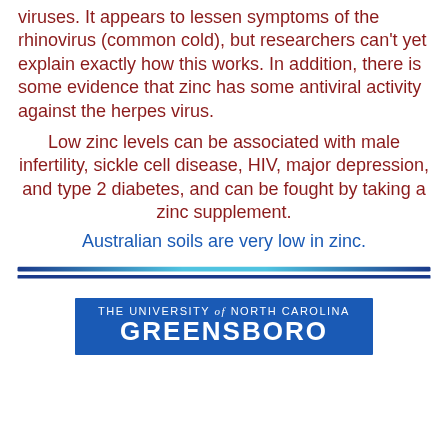viruses. It appears to lessen symptoms of the rhinovirus (common cold), but researchers can't yet explain exactly how this works. In addition, there is some evidence that zinc has some antiviral activity against the herpes virus.
Low zinc levels can be associated with male infertility, sickle cell disease, HIV, major depression, and type 2 diabetes, and can be fought by taking a zinc supplement.
Australian soils are very low in zinc.
[Figure (other): Decorative horizontal divider lines: a gradient blue-cyan line above a solid dark blue line]
[Figure (logo): The University of North Carolina Greensboro logo — blue rectangle with white text reading THE UNIVERSITY of NORTH CAROLINA GREENSBORO]